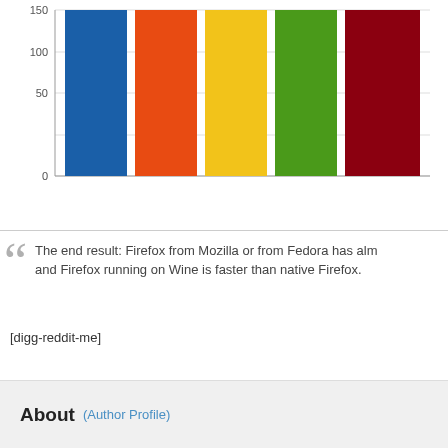[Figure (bar-chart): Browser benchmark]
The end result: Firefox from Mozilla or from Fedora has alm and Firefox running on Wine is faster than native Firefox.
[digg-reddit-me]
About (Author Profile)